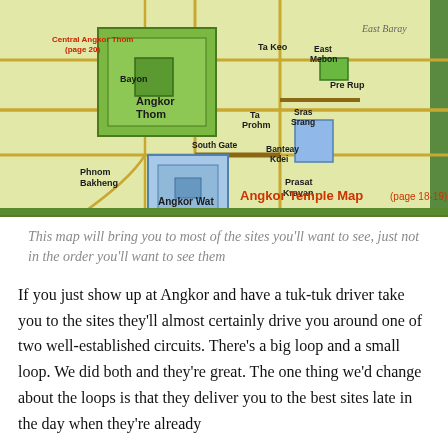[Figure (map): Angkor Temple Map showing Central Angkor Thom (page 20), Bayon, Angkor Thom, South Gate, Phnom Bakheng, Angkor Wat, Ta Keo, East Mebon, Pre Rup, Ta Prohm, Sras Srang, Banteay Kdei, Prasat Kravan, and East Baray. Roads and circuits shown in yellow and brown lines. Temple complexes shown as green and blue squares.]
This map will bring you to most of the sites you'll want to see, just not in the order you'll want to see them
If you just show up at Angkor and have a tuk-tuk driver take you to the sites they'll almost certainly drive you around one of two well-established circuits. There's a big loop and a small loop. We did both and they're great. The one thing we'd change about the loops is that they deliver you to the best sites late in the day when they're already